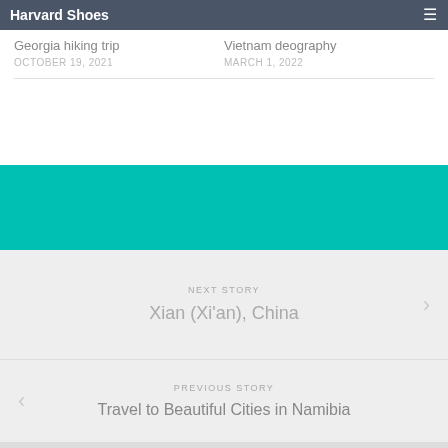Harvard Shoes
Georgia hiking trip
Vietnam deography
OCTOBER 19, 2021
MARCH 1, 2022
[Figure (other): Teal/turquoise colored decorative block]
NEXT STORY
Xian (Xi'an), China
PREVIOUS STORY
Travel to Beautiful Cities in Namibia